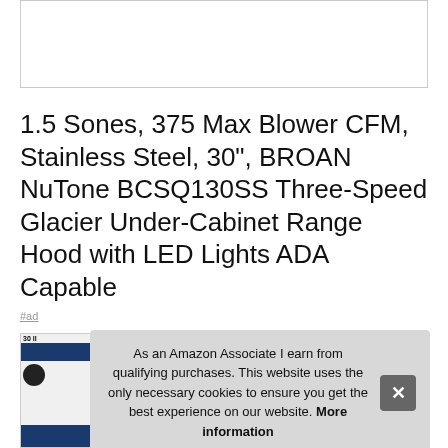[Figure (photo): Product image placeholder (white box with border)]
1.5 Sones, 375 Max Blower CFM, Stainless Steel, 30", BROAN NuTone BCSQ130SS Three-Speed Glacier Under-Cabinet Range Hood with LED Lights ADA Capable
#ad
[Figure (photo): Product thumbnail showing range hood with dark blue bar and brand badge]
As an Amazon Associate I earn from qualifying purchases. This website uses the only necessary cookies to ensure you get the best experience on our website. More information